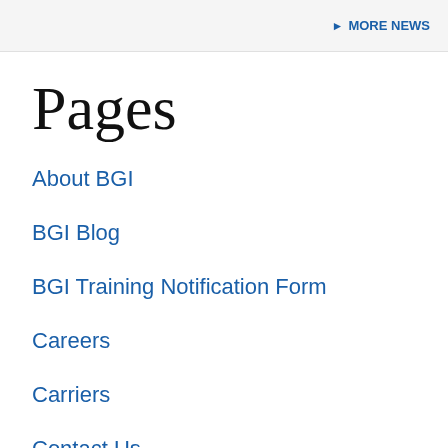► MORE NEWS
Pages
About BGI
BGI Blog
BGI Training Notification Form
Careers
Carriers
Contact Us
Confirmation